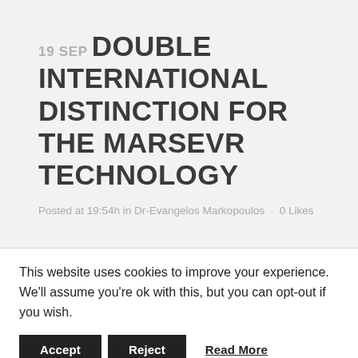19 SEP DOUBLE INTERNATIONAL DISTINCTION FOR THE MARSEVR TECHNOLOGY
Posted at 19:54h in Dr-Evangelos Markopoulos · 0 Likes
This website uses cookies to improve your experience. We'll assume you're ok with this, but you can opt-out if you wish.